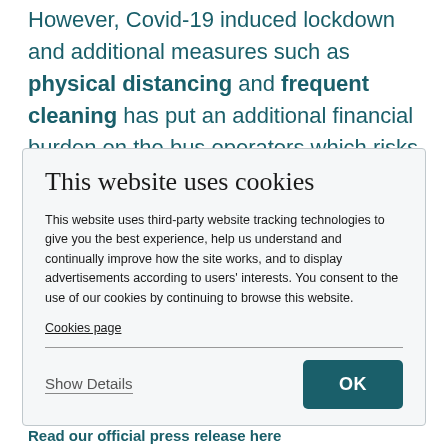However, Covid-19 induced lockdown and additional measures such as physical distancing and frequent cleaning has put an additional financial burden on the bus operators which risks
[Figure (screenshot): Cookie consent dialog box with title 'This website uses cookies', explanatory text about third-party tracking technologies, a 'Cookies page' link, a horizontal divider, 'Show Details' link with underline, and an 'OK' button in dark teal.]
Read our official press release here